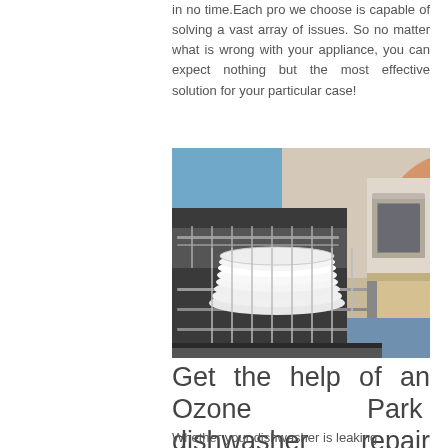in no time.Each pro we choose is capable of solving a vast array of issues. So no matter what is wrong with your appliance, you can expect nothing but the most effective solution for your particular case!
[Figure (photo): A person loading white plates into an open dishwasher rack in a kitchen setting, with a wall oven visible in the background.]
Get the help of an Ozone Park  dishwasher  repair pro right now
Whether your dishwasher is leaking